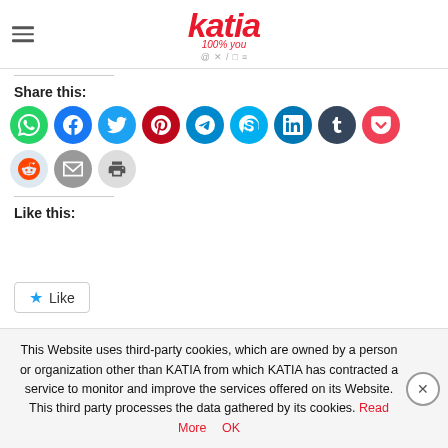[Figure (logo): Katia logo in red italic script with tagline '100% you' and social media icons row]
Share this:
[Figure (infographic): Row of social media share buttons: WhatsApp, Facebook, Twitter, Pinterest, Telegram, Skype, LinkedIn, Tumblr, Pocket, Reddit, Email, Print]
Like this:
[Figure (other): Like button with star icon]
This Website uses third-party cookies, which are owned by a person or organization other than KATIA from which KATIA has contracted a service to monitor and improve the services offered on its Website. This third party processes the data gathered by its cookies. Read More OK